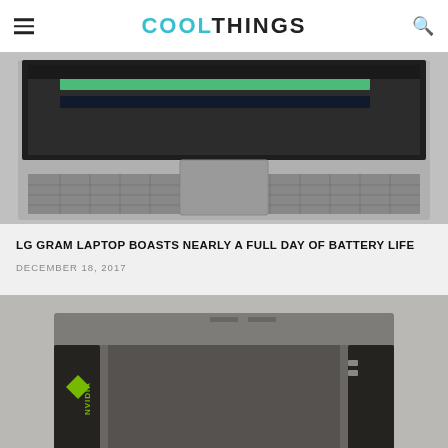COOLTHINGS
[Figure (photo): LG laptop open showing screen with editing software, keyboard visible, viewed from front-top angle]
LG GRAM LAPTOP BOASTS NEARLY A FULL DAY OF BATTERY LIFE
DECEMBER 18, 2017
[Figure (photo): NVIDIA DGX server/workstation unit, dark gray rack-mount hardware with NVIDIA logo on side, two handles visible]